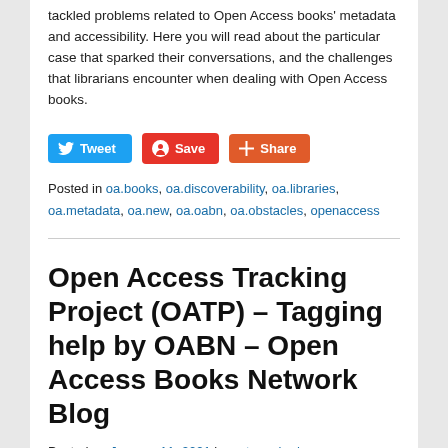tackled problems related to Open Access books' metadata and accessibility. Here you will read about the particular case that sparked their conversations, and the challenges that librarians encounter when dealing with Open Access books.
[Figure (other): Social sharing buttons: Tweet (blue), Save (red with Pinterest icon), Share (orange-red with plus icon)]
Posted in oa.books, oa.discoverability, oa.libraries, oa.metadata, oa.new, oa.oabn, oa.obstacles, openaccess
Open Access Tracking Project (OATP) – Tagging help by OABN – Open Access Books Network Blog
Posted on January 11, 2021 by peter suber's